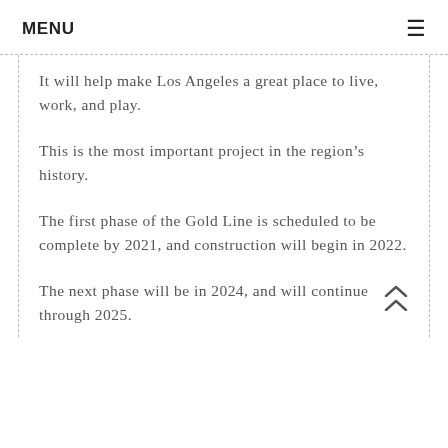MENU
It will help make Los Angeles a great place to live, work, and play.
This is the most important project in the region’s history.
The first phase of the Gold Line is scheduled to be complete by 2021, and construction will begin in 2022.
The next phase will be in 2024, and will continue through 2025.